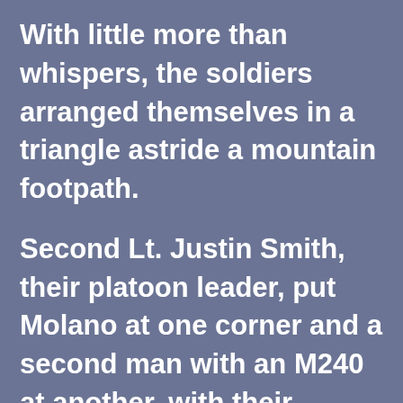With little more than whispers, the soldiers arranged themselves in a triangle astride a mountain footpath.

Second Lt. Justin Smith, their platoon leader, put Molano at one corner and a second man with an M240 at another, with their machine guns angled